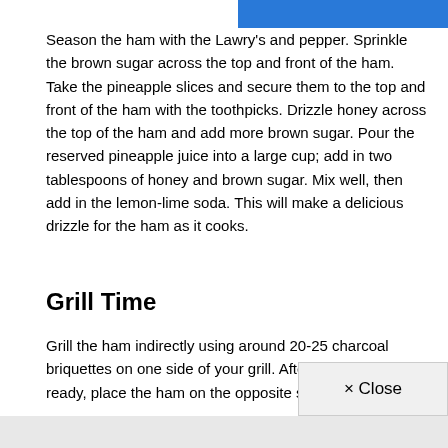[Figure (other): Blue header bar partial UI element at top right]
Season the ham with the Lawry's and pepper. Sprinkle the brown sugar across the top and front of the ham. Take the pineapple slices and secure them to the top and front of the ham with the toothpicks. Drizzle honey across the top of the ham and add more brown sugar. Pour the reserved pineapple juice into a large cup; add in two tablespoons of honey and brown sugar. Mix well, then add in the lemon-lime soda. This will make a delicious drizzle for the ham as it cooks.
Grill Time
Grill the ham indirectly using around 20-25 charcoal briquettes on one side of your grill. After your charco ready, place the ham on the opposite side of your g
× Close